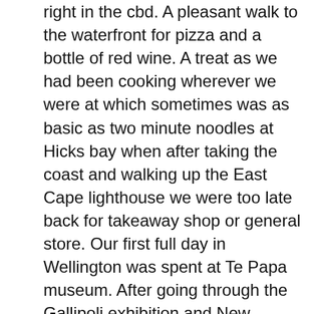right in the cbd. A pleasant walk to the waterfront for pizza and a bottle of red wine. A treat as we had been cooking wherever we were at which sometimes was as basic as two minute noodles at Hicks bay when after taking the coast and walking up the East Cape lighthouse we were too late back for takeaway shop or general store. Our first full day in Wellington was spent at Te Papa museum. After going through the Gallipoli exhibition and New Zealand's migration and indigenous peoples history we were thrilled to have purchased tickets for their exhibition of The Terricotta warriors from China. The next day started rainy and overcast so we headed up the Coast after doing a reconnaissance for the ferry next morning to Paraparaumu to The Southward car museum. We also visited a few of the old haunts from the days I had lived there back in the mid 80's. Before we knew it we had been gone from Auckland a week and were lining the car up at the wharf to drive on and start our South Island adventure. It was an early start to be on